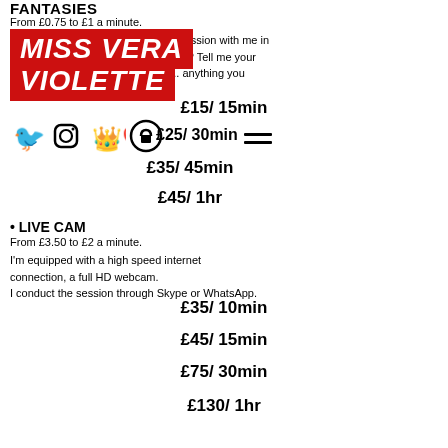FANTASIES
From £0.75 to £1 a minute.
[Figure (other): Red overlay banner with 'MISS VERA' text overlapping body text]
[Figure (other): Red overlay banner with 'VIOLETTE' text overlapping body text]
...e session with me in ...ous? Tell me your fantasies, ask me your questions... anything you w...
£15/ 15min
[Figure (other): Social media icons: Twitter bird, Instagram camera, heart crown icon, lock circle icon; with price £25/30min overlapping; hamburger menu icon to the right]
£35/ 45min
£45/ 1hr
• LIVE CAM
From £3.50 to £2 a minute.
I'm equipped with a high speed internet connection, a full HD webcam.
I conduct the session through Skype or WhatsApp.
£35/ 10min
£45/ 15min
£75/ 30min
£130/ 1hr